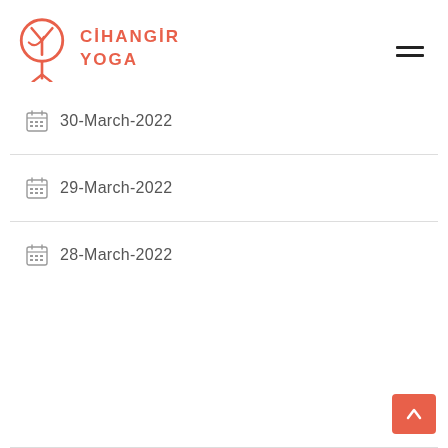Cihangir Yoga
30-March-2022
29-March-2022
28-March-2022